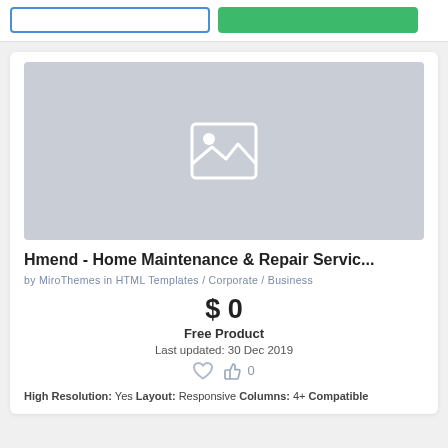[Figure (screenshot): Top bar with two buttons: an outline blue button and a green button]
[Figure (photo): Product thumbnail placeholder image with mountain/image icon on gray background]
Hmend - Home Maintenance & Repair Servic...
by MiroThemes in HTML Templates / Corporate / Business
$ 0
Free Product
Last updated: 30 Dec 2019
0
High Resolution: Yes Layout: Responsive Columns: 4+ Compatible